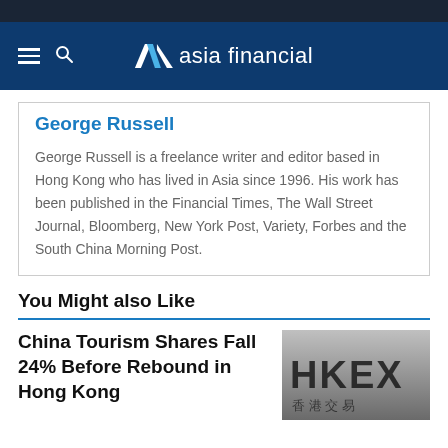asia financial
George Russell
George Russell is a freelance writer and editor based in Hong Kong who has lived in Asia since 1996. His work has been published in the Financial Times, The Wall Street Journal, Bloomberg, New York Post, Variety, Forbes and the South China Morning Post.
You Might also Like
China Tourism Shares Fall 24% Before Rebound in Hong Kong
[Figure (photo): HKEX sign/logo in black and white]